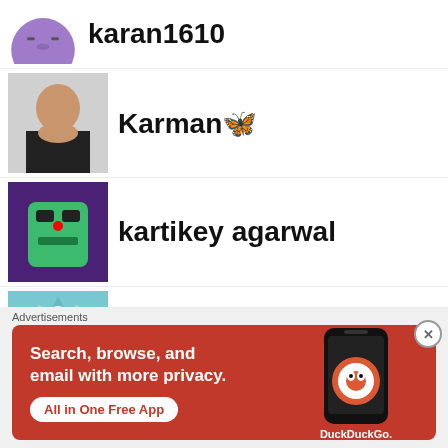karan1610
Karman 🦋
kartikey agarwal
kashishawtani
Kashish Kapoor
kashishmehta8675
[Figure (screenshot): Partially visible user avatar at bottom of list]
Advertisements
[Figure (infographic): DuckDuckGo advertisement banner: Search, browse, and email with more privacy. All in One Free App. Shows phone with DuckDuckGo logo.]